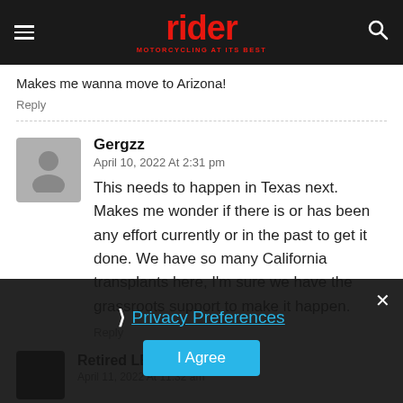rider — MOTORCYCLING AT ITS BEST
Makes me wanna move to Arizona!
Reply
Gergzz
April 10, 2022 At 2:31 pm
This needs to happen in Texas next. Makes me wonder if there is or has been any effort currently or in the past to get it done. We have so many California transplants here, I’m sure we have the grassroots support to make it happen.
Reply
Retired LE
April 11, 2022 At 11:32 am
› Privacy Preferences
I Agree